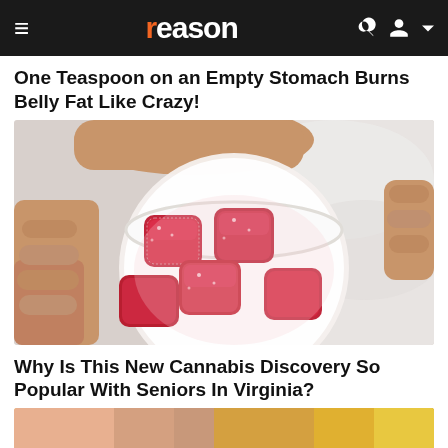reason
One Teaspoon on an Empty Stomach Burns Belly Fat Like Crazy!
[Figure (photo): Hand holding a small white plastic cup containing several red sugar-coated gummy candy cubes]
Why Is This New Cannabis Discovery So Popular With Seniors In Virginia?
[Figure (photo): Partial view of another advertisement image with pink and yellow/gold colors at the bottom of the page]